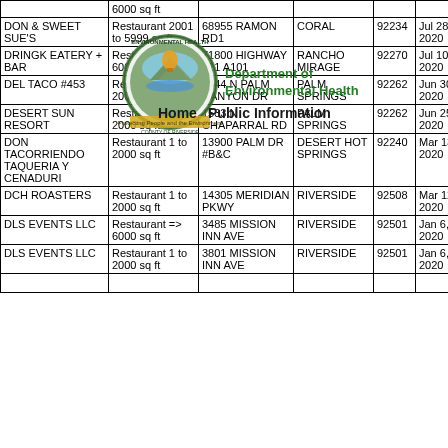| Name | Type | Address | City | Zip | Date |  |
| --- | --- | --- | --- | --- | --- | --- |
|  | 6000 sq ft |  |  |  |  |  |
| DON & SWEET SUE'S | Restaurant 2001 to 5999 sq ft | 68955 RAMON RD1 | CORAL | 92234 | Jul 28, 2020 | 9 |
| DRINGK EATERY + BAR | Restaurant => 6000 sq ft | 71800 HIGHWAY 111 A101 | RANCHO MIRAGE | 92270 | Jul 10, 2020 | 9 |
| DEL TACO #453 | Restaurant 1 to 2000 sq ft | 2444 N PALM CANYON DR | PALM SPRINGS | 92262 | Jun 30, 2020 | 9 |
| DESERT SUN RESORT | Restaurant 1 to 2000 sq ft | 1533 N CHAPARRAL RD | PALM SPRINGS | 92262 | Jun 25, 2020 | 9 |
| DON TACORRIENDO TAQUERIA Y CENADURI | Restaurant 1 to 2000 sq ft | 13900 PALM DR #B&C | DESERT HOT SPRINGS | 92240 | Mar 13, 2020 | 9 |
| DCH ROASTERS | Restaurant 1 to 2000 sq ft | 14305 MERIDIAN PKWY | RIVERSIDE | 92508 | Mar 12, 2020 | 9 |
| DLS EVENTS LLC | Restaurant => 6000 sq ft | 3485 MISSION INN AVE | RIVERSIDE | 92501 | Jan 6, 2020 | 9 |
| DLS EVENTS LLC | Restaurant 1 to 2000 sq ft | 3801 MISSION INN AVE | RIVERSIDE | 92501 | Jan 6, 2020 | 9 |
[Figure (logo): Riverside County Department of Environmental Health seal/logo with text overlay: 'Department of Environmental Health' and 'Home Public Information']